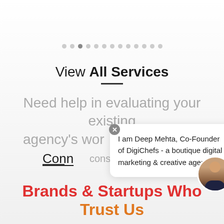[Figure (other): Pagination dots row with one active dot (3rd of 13)]
View All Services
Need help in evaluating your existing agency's work? We offer audits & consulting services.
Connect
[Figure (other): Chat popup bubble with text: I am Deep Mehta, Co-Founder of DigiChefs - a boutique digital marketing & creative agency. Includes avatar photo of a man and a green online indicator dot.]
Brands & Startups Who Trust Us